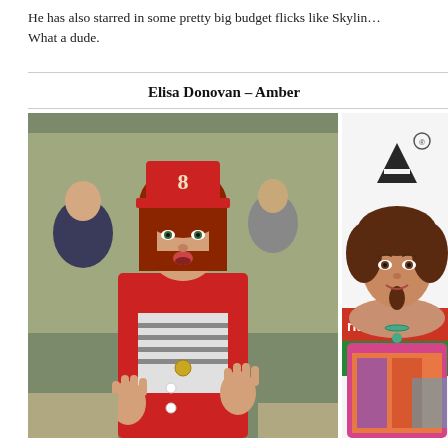He has also starred in some pretty big budget flicks like Skylin... What a dude.
Elisa Donovan – Amber
[Figure (photo): Two photos side by side: left photo shows a woman with red hair wearing a red outfit and a red hat with a decorative emblem, appearing to be from a movie scene in a school cafeteria; right photo shows a woman with dark curly hair in a colorful off-shoulder top at what appears to be a promotional event with 'ride' and 'AYE' visible on a banner behind her.]